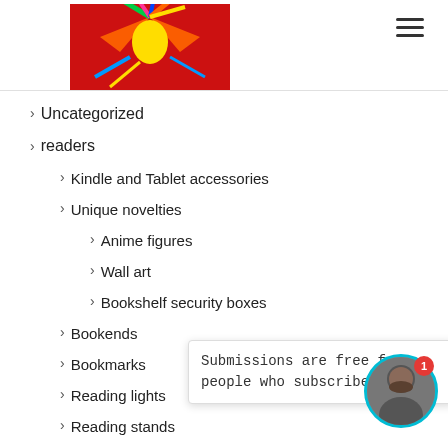[Figure (logo): Red background logo with colorful bird/splash graphic]
> Uncategorized
> readers
> Kindle and Tablet accessories
> Unique novelties
> Anime figures
> Wall art
> Bookshelf security boxes
> Bookends
> Bookmarks
> Reading lights
> Reading stands
> painters
> Sketchb...
> Miscella...
> Easels/t...
> Canvas
Submissions are free for people who subscribe. ✔ ✔ ✔